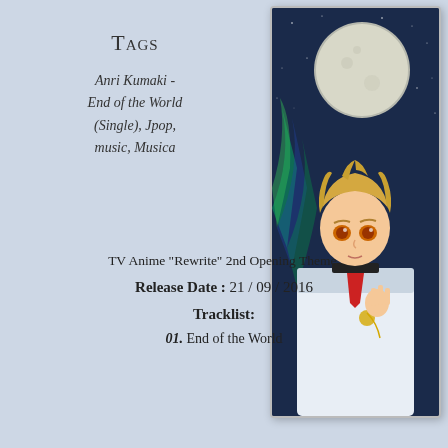Tags
Anri Kumaki - End of the World (Single), Jpop, music, Musica
[Figure (illustration): Anime character (young male with blonde hair, amber eyes, wearing white uniform with red necktie) standing against a night sky background with aurora borealis and large moon]
TV Anime “Rewrite” 2nd Opening Theme.
Release Date : 21/09/2016
Tracklist:
01. End of the World